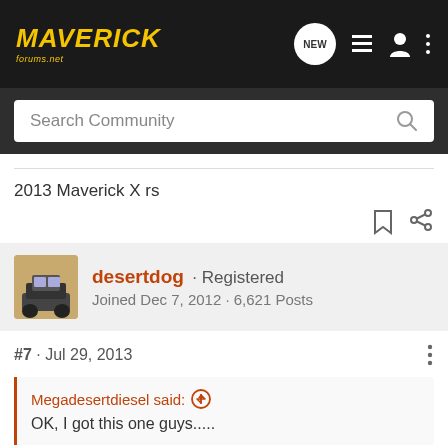MAVERICK forums.net — Search Community
2013 Maverick X rs
desertdog · Registered
Joined Dec 7, 2012 · 6,621 Posts
#7 · Jul 29, 2013
Megadesertdiesel said:
OK, I got this one guys.....